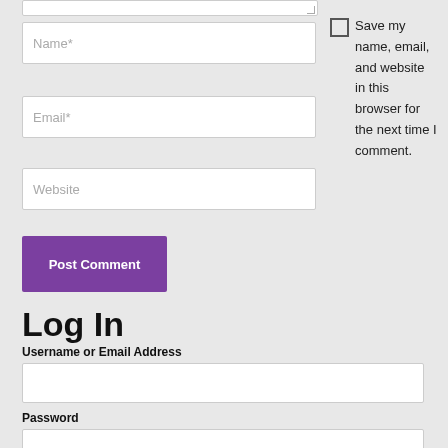[Figure (screenshot): Comment form with Name, Email, Website input fields, a Post Comment button, and a checkbox to save name/email/website. Below is a Log In section with Username or Email Address and Password fields.]
Name*
Email*
Website
Save my name, email, and website in this browser for the next time I comment.
Post Comment
Log In
Username or Email Address
Password